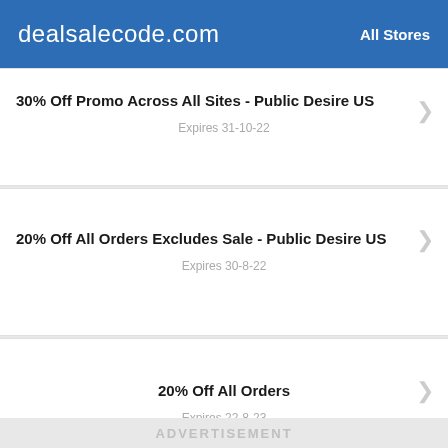dealsalecode.com   All Stores
30% Off Promo Across All Sites - Public Desire US
Expires 31-10-22
20% Off All Orders Excludes Sale - Public Desire US
Expires 30-8-22
20% Off All Orders
Expires 22-8-23
ADVERTISEMENT